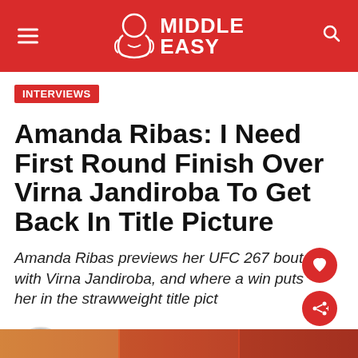[Figure (logo): Middle Easy website header logo with red background, hamburger menu icon on left, search icon on right, gorilla mascot and MIDDLE EASY text in white]
INTERVIEWS
Amanda Ribas: I Need First Round Finish Over Virna Jandiroba To Get Back In Title Picture
Amanda Ribas previews her UFC 267 bout with Virna Jandiroba, and where a win puts her in the strawweight title pict
Written by Derek Hall
Last updated on September 28th, 2021
[Figure (photo): Bottom strip showing partial image of Amanda Ribas]